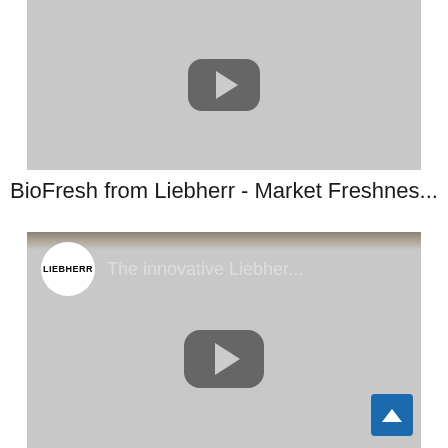[Figure (screenshot): YouTube video thumbnail placeholder with grey background and play button, first video]
BioFresh from Liebherr - Market Freshnes...
[Figure (screenshot): YouTube embedded video player for 'The innovative Liebher...' channel with Liebherr logo circle, grey background, and play button. Scroll-to-top button in bottom right.]